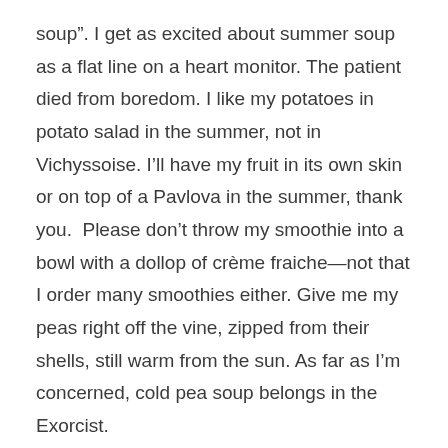soup”. I get as excited about summer soup as a flat line on a heart monitor. The patient died from boredom. I like my potatoes in potato salad in the summer, not in Vichyssoise. I’ll have my fruit in its own skin or on top of a Pavlova in the summer, thank you.  Please don’t throw my smoothie into a bowl with a dollop of crème fraiche—not that I order many smoothies either. Give me my peas right off the vine, zipped from their shells, still warm from the sun. As far as I’m concerned, cold pea soup belongs in the Exorcist.

It’s not that I haven’t tried to love summer soup, I have. It’s often the amuse bouche at upscale restaurants in the summer, so I’ve tried many of them. They are not